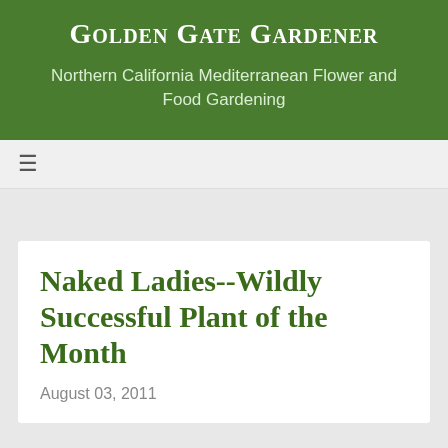Golden Gate Gardener
Northern California Mediterranean Flower and Food Gardening
Naked Ladies--Wildly Successful Plant of the Month
August 03, 2011